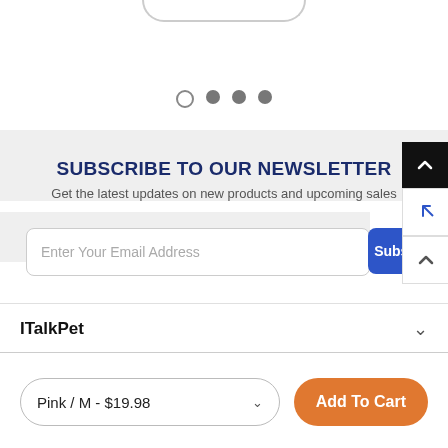[Figure (screenshot): Rounded rectangle button outline partially visible at top]
[Figure (other): Carousel dot indicators: one empty circle followed by three filled circles]
SUBSCRIBE TO OUR NEWSLETTER
Get the latest updates on new products and upcoming sales
Enter Your Email Address
Subscribe
ITalkPet
Pink / M - $19.98
Add To Cart